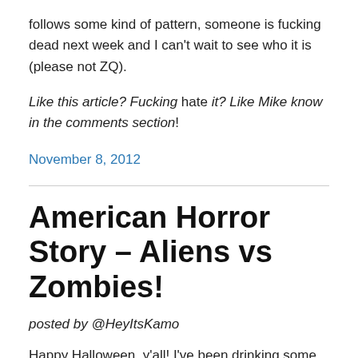follows some kind of pattern, someone is fucking dead next week and I can't wait to see who it is (please not ZQ).
Like this article? Fucking hate it? Like Mike know in the comments section!
November 8, 2012
American Horror Story – Aliens vs Zombies!
posted by @HeyItsKamo
Happy Halloween, y'all! I've been drinking some witches brew (apple cider mixed with spiced rum) for the past several hours, so this post is going to be a lot shorter than